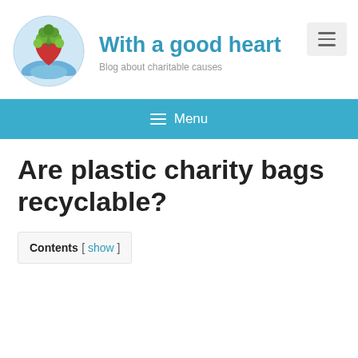[Figure (logo): Circular logo with green tree leaves on top, red heart in center, and blue hands cupping from below]
With a good heart
Blog about charitable causes
≡ Menu
Are plastic charity bags recyclable?
Contents [ show ]